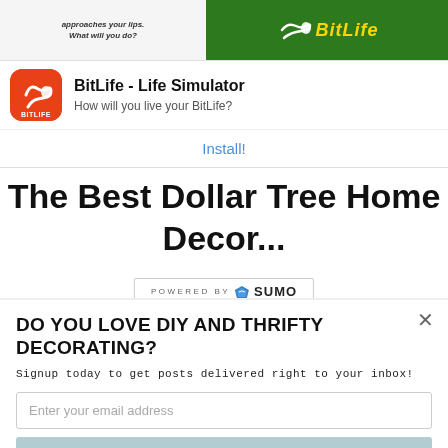[Figure (screenshot): BitLife app advertisement banner with game screenshot on top and app icon, title, and install button below]
BitLife - Life Simulator
How will you live your BitLife?
Install!
The Best Dollar Tree Home
[Figure (logo): Powered by Sumo logo banner]
DO YOU LOVE DIY AND THRIFTY DECORATING?
Signup today to get posts delivered right to your inbox!
Enter your email address
Subscribe Now